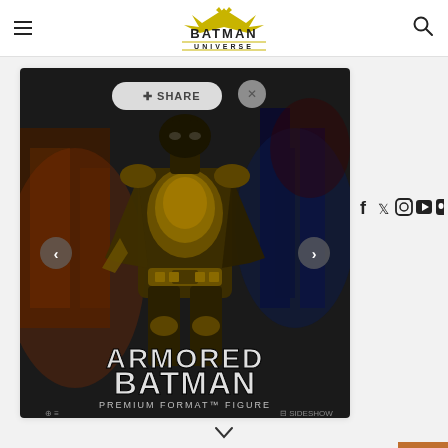[Figure (logo): The Batman Universe logo with bat silhouette above the text in yellow/gold color]
[Figure (photo): Armored Batman Premium Format Figure product image showing a dark armored Batman figure with golden armor, city background; overlay shows SHARE button and navigation arrows; text reads ARMORED BATMAN PREMIUM FORMAT FIGURE with Sideshow branding]
[Figure (infographic): Social media icons: Facebook, Twitter, Instagram, YouTube, Discord displayed on right side]